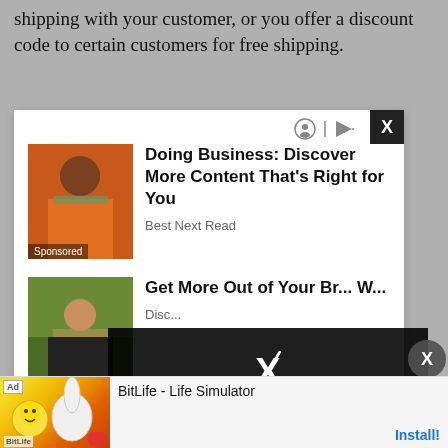shipping with your customer, or you offer a discount code to certain customers for free shipping.
[Figure (screenshot): Advertisement card with two sponsored content items. First: image of a woman in an orange jacket, headline 'Doing Business: Discover More Content That's Right for You', source 'Best Next Read'. Second: image of a woman outdoors, headline 'Get More Out of Your Br... W...', source 'Disc...'. Card has X close button in upper right corner and ad/privacy icons.]
[Figure (screenshot): Video error overlay with large X mark and text: 'The media could not be loaded, either because the server or network failed or because the']
[Figure (screenshot): Bottom ad banner for BitLife - Life Simulator with 'Ad' label, colorful game image, title text, and 'Install!' button in blue.]